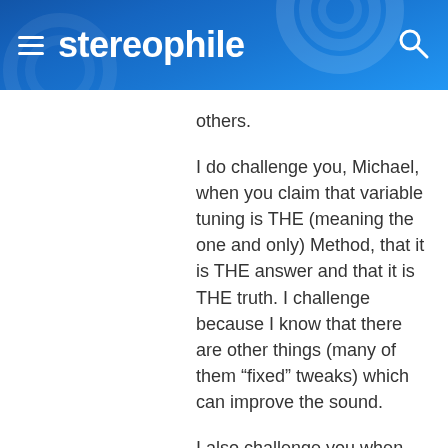stereophile
others.
I do challenge you, Michael, when you claim that variable tuning is THE (meaning the one and only) Method, that it is THE answer and that it is THE truth. I challenge because I know that there are other things (many of them “fixed” tweaks) which can improve the sound.
I also challenge you when you claim that you have …